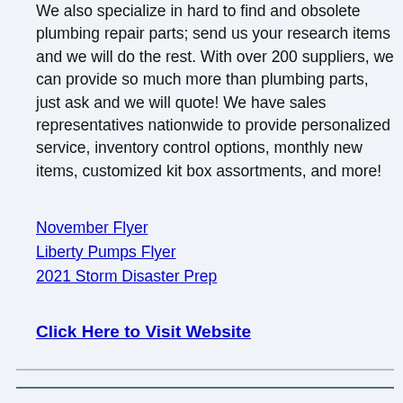We also specialize in hard to find and obsolete plumbing repair parts; send us your research items and we will do the rest. With over 200 suppliers, we can provide so much more than plumbing parts, just ask and we will quote! We have sales representatives nationwide to provide personalized service, inventory control options, monthly new items, customized kit box assortments, and more!
November Flyer
Liberty Pumps Flyer
2021 Storm Disaster Prep
Click Here to Visit Website